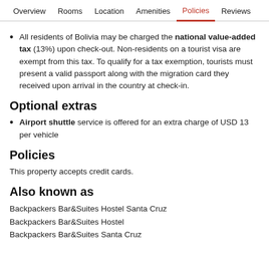Overview | Rooms | Location | Amenities | Policies | Reviews
All residents of Bolivia may be charged the national value-added tax (13%) upon check-out. Non-residents on a tourist visa are exempt from this tax. To qualify for a tax exemption, tourists must present a valid passport along with the migration card they received upon arrival in the country at check-in.
Optional extras
Airport shuttle service is offered for an extra charge of USD 13 per vehicle
Policies
This property accepts credit cards.
Also known as
Backpackers Bar&Suites Hostel Santa Cruz
Backpackers Bar&Suites Hostel
Backpackers Bar&Suites Santa Cruz